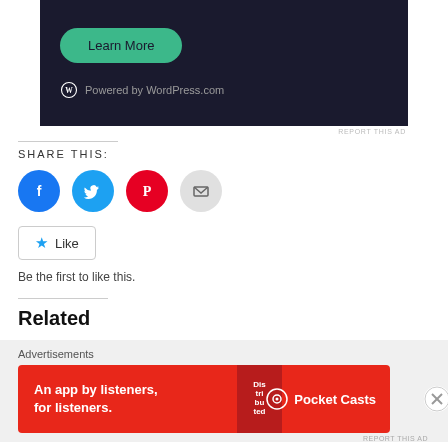[Figure (screenshot): Dark-themed ad banner with a teal 'Learn More' button and 'Powered by WordPress.com' text with WordPress logo]
REPORT THIS AD
SHARE THIS:
[Figure (infographic): Four social share icon circles: Facebook (blue), Twitter (light blue), Pinterest (red), Email (grey)]
[Figure (infographic): Like button with star icon and text 'Like']
Be the first to like this.
Related
Advertisements
[Figure (screenshot): Pocket Casts advertisement: red banner with text 'An app by listeners, for listeners.' with Pocket Casts logo and phone image]